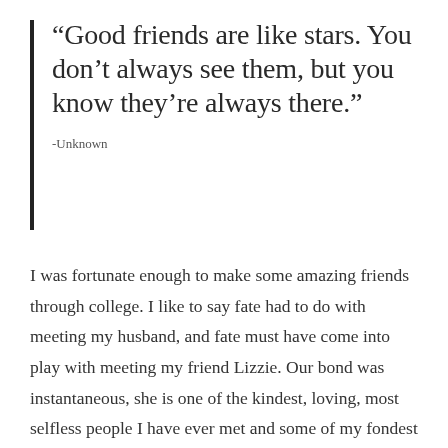“Good friends are like stars. You don’t always see them, but you know they’re always there.”
-Unknown
I was fortunate enough to make some amazing friends through college. I like to say fate had to do with meeting my husband, and fate must have come into play with meeting my friend Lizzie. Our bond was instantaneous, she is one of the kindest, loving, most selfless people I have ever met and some of my fondest college memories are with her, even just spending but one semester together and after that being hours apart from one another. I felt so lucky to